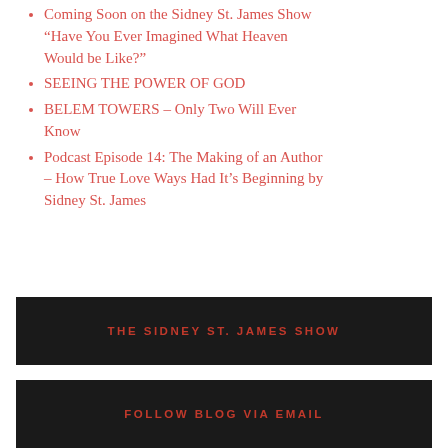Coming Soon on the Sidney St. James Show “Have You Ever Imagined What Heaven Would be Like?”
SEEING THE POWER OF GOD
BELEM TOWERS – Only Two Will Ever Know
Podcast Episode 14: The Making of an Author – How True Love Ways Had It’s Beginning by Sidney St. James
THE SIDNEY ST. JAMES SHOW
FOLLOW BLOG VIA EMAIL